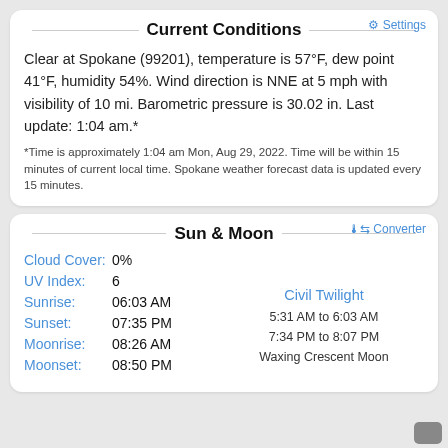Current Conditions
Clear at Spokane (99201), temperature is 57°F, dew point 41°F, humidity 54%. Wind direction is NNE at 5 mph with visibility of 10 mi. Barometric pressure is 30.02 in. Last update: 1:04 am.*
*Time is approximately 1:04 am Mon, Aug 29, 2022. Time will be within 15 minutes of current local time. Spokane weather forecast data is updated every 15 minutes.
Sun & Moon
Cloud Cover: 0%
UV Index: 6
Sunrise: 06:03 AM
Sunset: 07:35 PM
Moonrise: 08:26 AM
Moonset: 08:50 PM
Civil Twilight
5:31 AM to 6:03 AM
7:34 PM to 8:07 PM
Waxing Crescent Moon